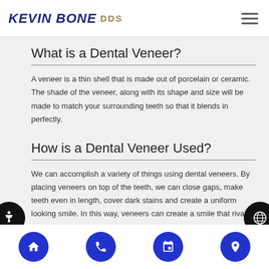KEVIN BONE CDS
What is a Dental Veneer?
A veneer is a thin shell that is made out of porcelain or ceramic. The shade of the veneer, along with its shape and size will be made to match your surrounding teeth so that it blends in perfectly.
How is a Dental Veneer Used?
We can accomplish a variety of things using dental veneers. By placing veneers on top of the teeth, we can close gaps, make teeth even in length, cover dark stains and create a uniform looking smile. In this way, veneers can create a smile that rivals the